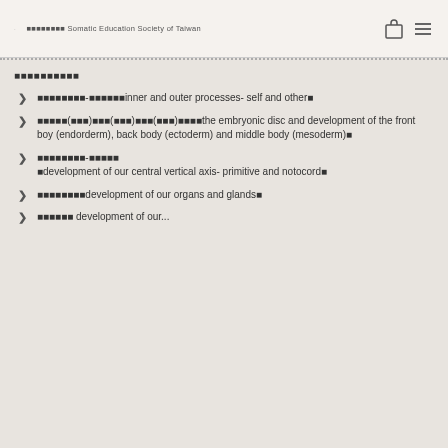■■■■■■■■ Somatic Education Society of Taiwan
■■■■■■■■■■
■■■■■■■■-■■■■■■inner and outer processes- self and other■
■■■■■(■■■)■■■(■■■)■■■(■■■)■■■■the embryonic disc and development of the front boy (endorderm), back body (ectoderm) and middle body (mesoderm)■
■■■■■■■■-■■■■■ ■development of our central vertical axis- primitive and notocord■
■■■■■■■■development of our organs and glands■
■■■■■■ development of our...